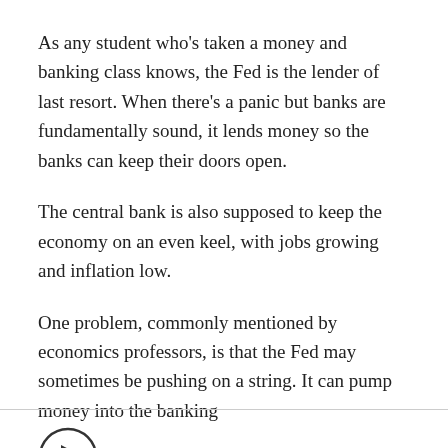As any student who's taken a money and banking class knows, the Fed is the lender of last resort. When there's a panic but banks are fundamentally sound, it lends money so the banks can keep their doors open.
The central bank is also supposed to keep the economy on an even keel, with jobs growing and inflation low.
One problem, commonly mentioned by economics professors, is that the Fed may sometimes be pushing on a string. It can pump money into the banking system, but it can't force banks to lend.